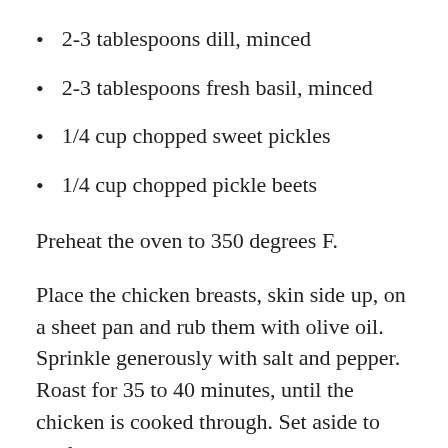2-3 tablespoons dill, minced
2-3 tablespoons fresh basil, minced
1/4 cup chopped sweet pickles
1/4 cup chopped pickle beets
Preheat the oven to 350 degrees F.
Place the chicken breasts, skin side up, on a sheet pan and rub them with olive oil. Sprinkle generously with salt and pepper. Roast for 35 to 40 minutes, until the chicken is cooked through. Set aside to cool.